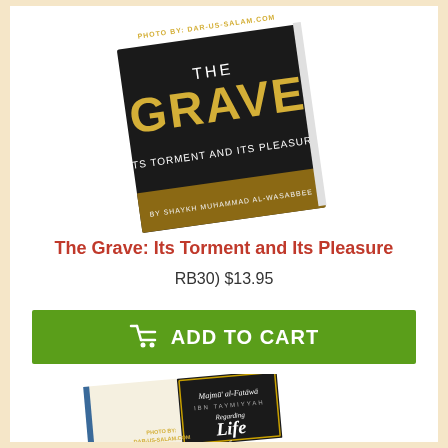[Figure (photo): Book cover of 'The Grave: Its Torment and Its Pleasure' by Shaykh Muhammad Al-Wasabbee, shown at an angle. Black cover with gold text.]
The Grave: Its Torment and Its Pleasure
RB30) $13.95
ADD TO CART
[Figure (photo): Book cover of 'Majmu al-Fatawa by Ibn Taymiyyah - Regarding Life After Death', dark cover with decorative border, open book showing pages.]